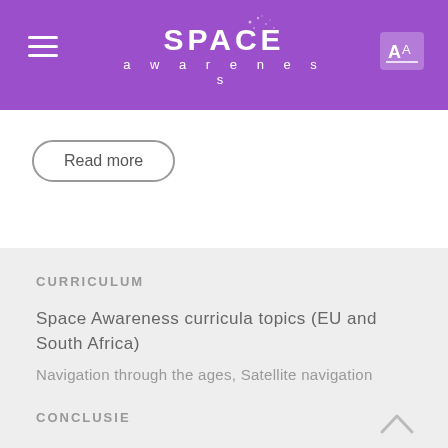SPACE awareness
Read more
CURRICULUM
Space Awareness curricula topics (EU and South Africa)
Navigation through the ages, Satellite navigation
CONCLUSIE